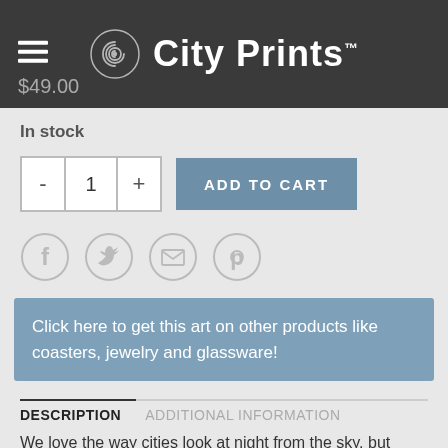City Prints
$49.00
In stock
- 1 + ADD TO CART
[Figure (infographic): Social sharing icons: Facebook, Twitter, Email, Pinterest]
Click here to get this art on other products like coasters, jewelry and glassware!
DESCRIPTION   ADDITIONAL INFORMATION
We love the way cities look at night from the sky, but there's a